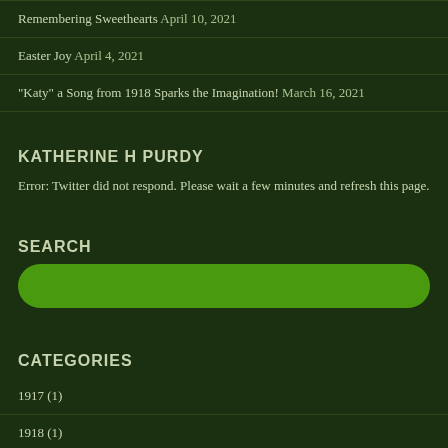Remembering Sweethearts April 10, 2021
Easter Joy April 4, 2021
"Katy" a Song from 1918 Sparks the Imagination! March 16, 2021
KATHERINE H PURDY
Error: Twitter did not respond. Please wait a few minutes and refresh this page.
SEARCH
CATEGORIES
1917 (1)
1918 (1)
2015 (1)
Anniversary (1)